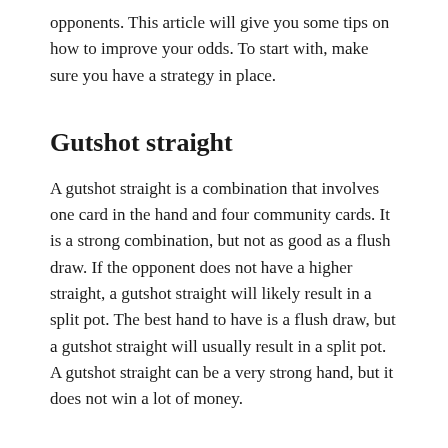opponents. This article will give you some tips on how to improve your odds. To start with, make sure you have a strategy in place.
Gutshot straight
A gutshot straight is a combination that involves one card in the hand and four community cards. It is a strong combination, but not as good as a flush draw. If the opponent does not have a higher straight, a gutshot straight will likely result in a split pot. The best hand to have is a flush draw, but a gutshot straight will usually result in a split pot. A gutshot straight can be a very strong hand, but it does not win a lot of money.
Raise, fold, and fold